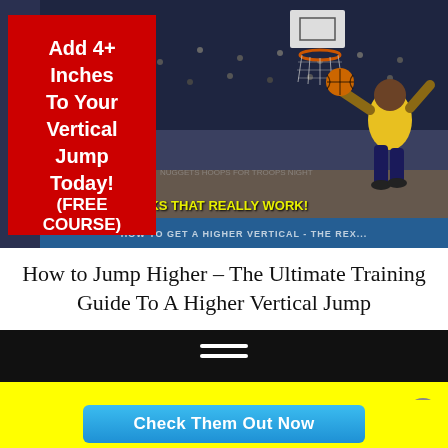[Figure (photo): Basketball player dunking in a sports arena, with a red banner overlay on the left saying 'Add 4+ Inches To Your Vertical Jump Today! (FREE COURSE)' and yellow text overlay reading 'PRO JUMP HACKS THAT REALLY WORK!' at the bottom center.]
How to Jump Higher – The Ultimate Training Guide To A Higher Vertical Jump
[Figure (infographic): Dark/black navigation bar with hamburger menu icon (three white horizontal lines)]
SEE THE TOP 10 JUMP PROGRAMS
Check Them Out Now